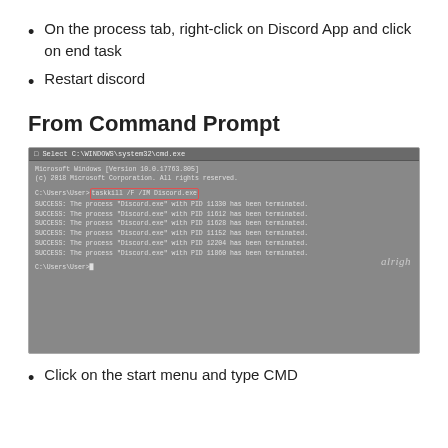On the process tab, right-click on Discord App and click on end task
Restart discord
From Command Prompt
[Figure (screenshot): Command Prompt window showing taskkill /F /IM Discord.exe command with multiple SUCCESS termination messages for Discord.exe processes]
Click on the start menu and type CMD